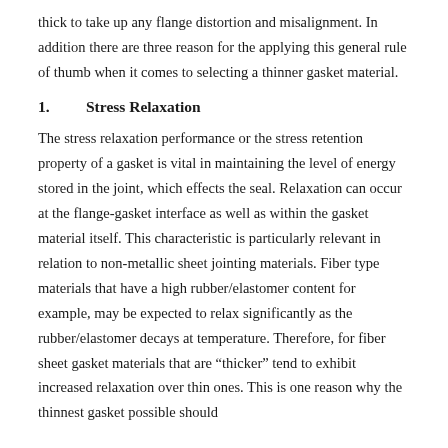thick to take up any flange distortion and misalignment.  In addition there are three reason for the applying this general rule of thumb when it comes to selecting a thinner gasket material.
1.      Stress Relaxation
The stress relaxation performance or the stress retention property of a gasket is vital in maintaining the level of energy stored in the joint, which effects the seal.  Relaxation can occur at the flange-gasket interface as well as within the gasket material itself.  This characteristic is particularly relevant in relation to non-metallic sheet jointing materials.  Fiber type materials that have a high rubber/elastomer content for example, may be expected to relax significantly as the rubber/elastomer decays at temperature. Therefore, for fiber sheet gasket materials that are “thicker” tend to exhibit increased relaxation over thin ones. This is one reason why the thinnest gasket possible should